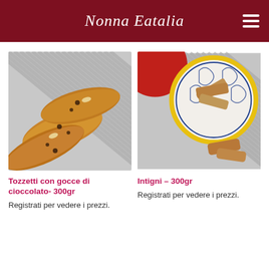Nonna Eatalia
[Figure (photo): Tozzetti biscuits with chocolate chips on a striped cloth]
Tozzetti con gocce di cioccolato- 300gr
Registrati per vedere i prezzi.
[Figure (photo): Intigni biscuits in a decorative bowl on a striped cloth]
Intigni – 300gr
Registrati per vedere i prezzi.